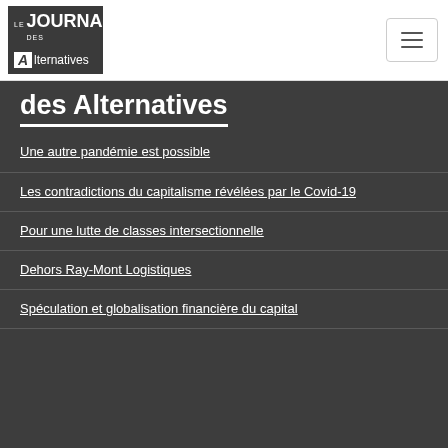[Figure (logo): Le Journal des Alternatives logo - dark background with white text]
des Alternatives
Une autre pandémie est possible
Les contradictions du capitalisme révélées par le Covid-19
Pour une lutte de classes intersectionnelle
Dehors Ray-Mont Logistiques
Spéculation et globalisation financière du capital